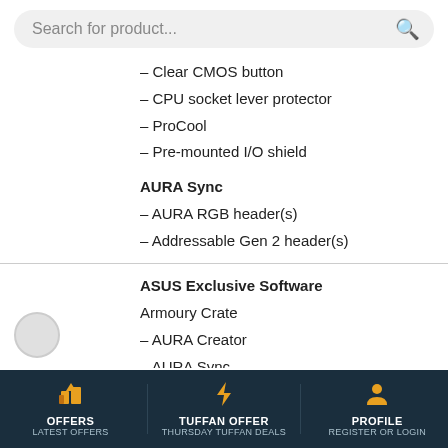Search for product...
– Clear CMOS button
– CPU socket lever protector
– ProCool
– Pre-mounted I/O shield
AURA Sync
– AURA RGB header(s)
– Addressable Gen 2 header(s)
ASUS Exclusive Software
Armoury Crate
– AURA Creator
– AURA Sync
– Fan Xpert 4
– Two-Way AI Noise Cancelation
AI Suite 3
-Easy Optimization with AI Overclocking
TPU
EPU
DIGI+ VRM
OFFERS LATEST OFFERS | TUFFAN OFFER THURSDAY TUFFAN DEALS | PROFILE REGISTER OR LOGIN